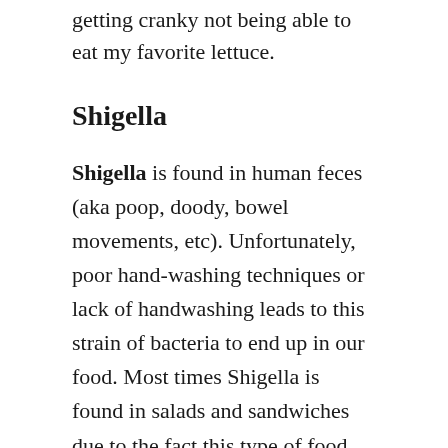getting cranky not being able to eat my favorite lettuce.
Shigella
Shigella is found in human feces (aka poop, doody, bowel movements, etc). Unfortunately, poor hand-washing techniques or lack of handwashing leads to this strain of bacteria to end up in our food. Most times Shigella is found in salads and sandwiches due to the fact this type of food preparation